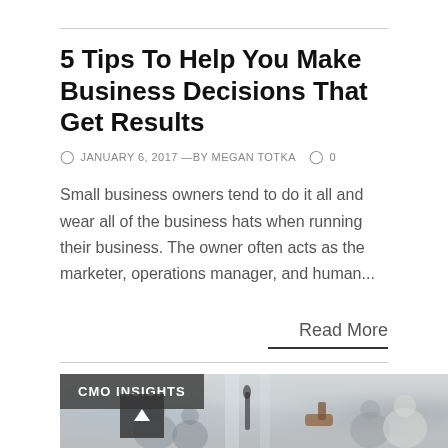5 Tips To Help You Make Business Decisions That Get Results
JANUARY 6, 2017 —BY MEGAN TOTKA   0
Small business owners tend to do it all and wear all of the business hats when running their business. The owner often acts as the marketer, operations manager, and human...
Read More
[Figure (photo): Office meeting scene with blurred people in a conference room; overlaid with CMO INSIGHTS badge and a back-to-top arrow button]